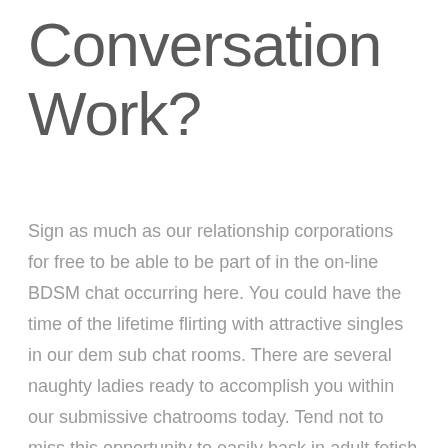Conversation Work?
Sign as much as our relationship corporations for free to be able to be part of in the on-line BDSM chat occurring here. You could have the time of the lifetime flirting with attractive singles in our dem sub chat rooms. There are several naughty ladies ready to accomplish you within our submissive chatrooms today. Tend not to miss this opportunity to easily bask in adult fetish chat that takes place about our web page round the clock every day.